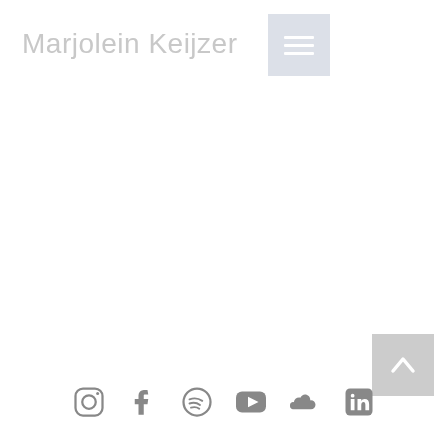Marjolein Keijzer
[Figure (other): Hamburger menu button icon (three horizontal white lines on light blue-grey square background)]
[Figure (other): Back to top button (upward chevron/caret arrow on light grey square background)]
[Figure (other): Social media icons row: Instagram, Facebook, Spotify, YouTube, SoundCloud, LinkedIn — all in grey]